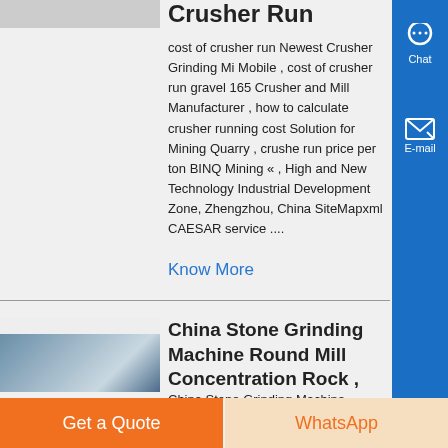Crusher Run
cost of crusher run Newest Crusher Grinding Mill Mobile , cost of crusher run gravel 165 Crusher and Mill Manufacturer , how to calculate crusher running cost Solution for Mining Quarry , crusher run price per ton BINQ Mining « , High and New Technology Industrial Development Zone, Zhengzhou, China SiteMapxml CAESAR service ....
Know More
China Stone Grinding Machine Round Mill Concentration Rock ,
China Stone Grinding Machine Round Mill Concentration Rock Gold Process Plant, Find
Get a Quote
WhatsApp